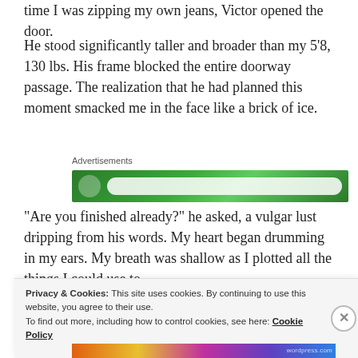time I was zipping my own jeans, Victor opened the door.
He stood significantly taller and broader than my 5’8, 130 lbs. His frame blocked the entire doorway passage. The realization that he had planned this moment smacked me in the face like a brick of ice.
[Figure (other): Green advertisement banner with circle icon and white button element]
“Are you finished already?” he asked, a vulgar lust dripping from his words. My heart began drumming in my ears. My breath was shallow as I plotted all the things I could use to
Privacy & Cookies: This site uses cookies. By continuing to use this website, you agree to their use.
To find out more, including how to control cookies, see here: Cookie Policy
Close and accept